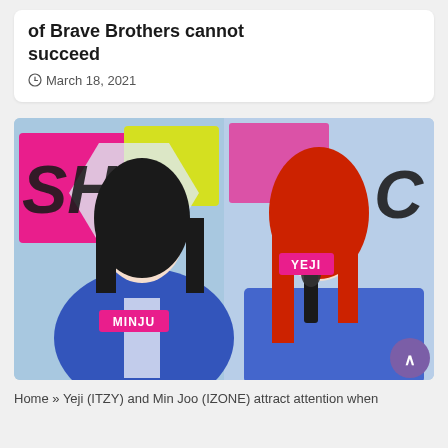of Brave Brothers cannot succeed
March 18, 2021
[Figure (photo): Two young women posing on a colorful music show stage. Left person (MINJU) has long black hair and wears a denim jacket. Right person (YEJI) has long red hair, holds a microphone, and wears a denim jacket. A colorful stage backdrop with large letters 'SHO' is visible. Name tags 'MINJU' and 'YEJI' are shown in pink.]
Home » Yeji (ITZY) and Min Joo (IZONE) attract attention when